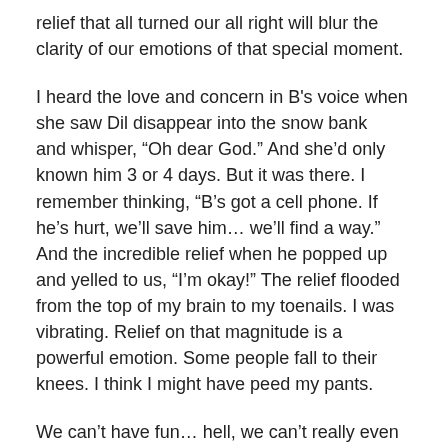relief that all turned our all right will blur the clarity of our emotions of that special moment.
I heard the love and concern in B's voice when she saw Dil disappear into the snow bank and whisper, “Oh dear God.” And she’d only known him 3 or 4 days. But it was there. I remember thinking, “B’s got a cell phone. If he’s hurt, we’ll save him… we’ll find a way.” And the incredible relief when he popped up and yelled to us, “I’m okay!” The relief flooded from the top of my brain to my toenails. I was vibrating. Relief on that magnitude is a powerful emotion. Some people fall to their knees. I think I might have peed my pants.
We can’t have fun… hell, we can’t really even live our lives to the fullest, if we don’t have